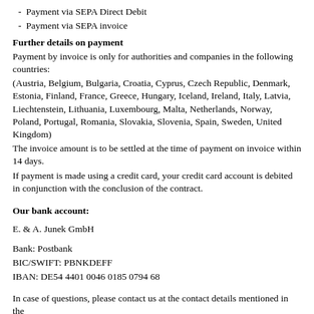Payment via SEPA Direct Debit
Payment via SEPA invoice
Further details on payment
Payment by invoice is only for authorities and companies in the following countries:
(Austria, Belgium, Bulgaria, Croatia, Cyprus, Czech Republic, Denmark, Estonia, Finland, France, Greece, Hungary, Iceland, Ireland, Italy, Latvia, Liechtenstein, Lithuania, Luxembourg, Malta, Netherlands, Norway, Poland, Portugal, Romania, Slovakia, Slovenia, Spain, Sweden, United Kingdom)
The invoice amount is to be settled at the time of payment on invoice within 14 days.
If payment is made using a credit card, your credit card account is debited in conjunction with the conclusion of the contract.
Our bank account:
E. & A. Junek GmbH
Bank: Postbank
BIC/SWIFT: PBNKDEFF
IBAN: DE54 4401 0046 0185 0794 68
In case of questions, please contact us at the contact details mentioned in the